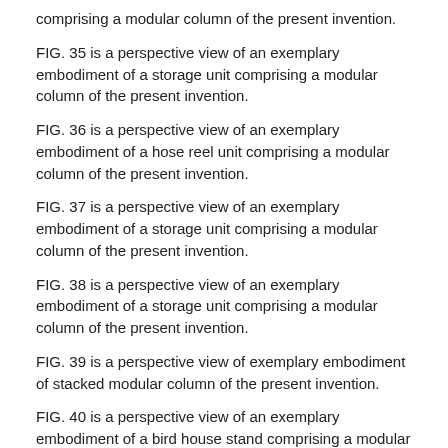comprising a modular column of the present invention.
FIG. 35 is a perspective view of an exemplary embodiment of a storage unit comprising a modular column of the present invention.
FIG. 36 is a perspective view of an exemplary embodiment of a hose reel unit comprising a modular column of the present invention.
FIG. 37 is a perspective view of an exemplary embodiment of a storage unit comprising a modular column of the present invention.
FIG. 38 is a perspective view of an exemplary embodiment of a storage unit comprising a modular column of the present invention.
FIG. 39 is a perspective view of exemplary embodiment of stacked modular column of the present invention.
FIG. 40 is a perspective view of an exemplary embodiment of a bird house stand comprising a modular post of the present invention.
FIG. 41 is a perspective view of an exemplary embodiment of a bird bath stand comprising a modular post of the present invention.
FIG. 42 is a perspective view of an exemplary embodiment of a bench comprising multiple modular half column of the present invention.
FIG. 43 is a perspective view of an exemplary embodiment of a bench